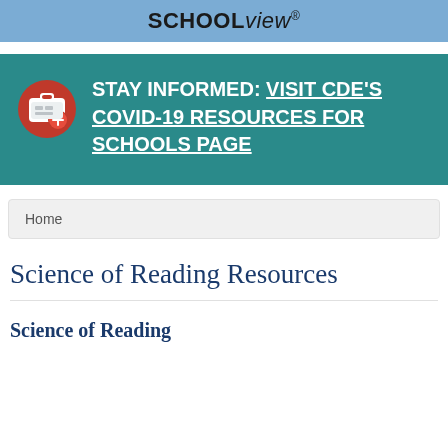SCHOOLview®
[Figure (screenshot): COVID-19 banner with medical kit icon and text: STAY INFORMED: Visit CDE's COVID-19 Resources for Schools page]
Home
Science of Reading Resources
Science of Reading